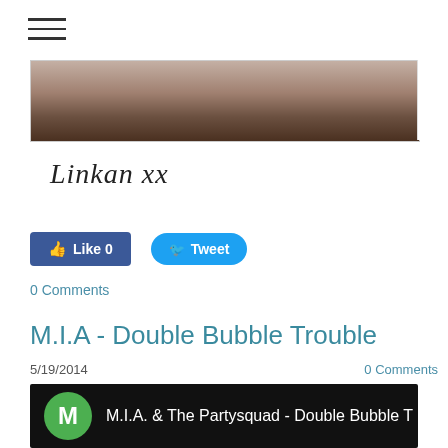☰ (hamburger menu)
[Figure (photo): Partial photo showing dark skin tones, bottom portion of a figure, cropped at both top and bottom]
[Figure (illustration): Handwritten signature reading 'Linkan xx' in cursive script]
[Figure (screenshot): Facebook Like button showing 'Like 0' and Twitter Tweet button]
0 Comments
M.I.A - Double Bubble Trouble
5/19/2014
0 Comments
[Figure (screenshot): Video thumbnail showing green circle avatar with letter M and title 'M.I.A. & The Partysquad - Double Bubble T']